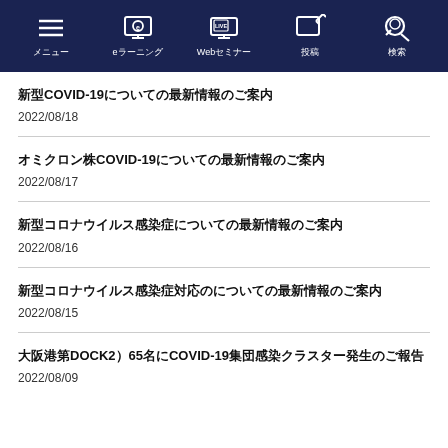メニュー / eラーニング / Webセミナー / 投稿 / 検索
新型COVID-19についての最新情報のご案内
2022/08/18
オミクロン株COVID-19についての最新情報のご案内
2022/08/17
新型コロナウイルス感染症についての最新情報のご案内
2022/08/16
新型コロナウイルス感染症対応のについての最新情報のご案内
2022/08/15
大阪港第DOCK2）65名にCOVID-19集団感染クラスター発生のご報告
2022/08/09